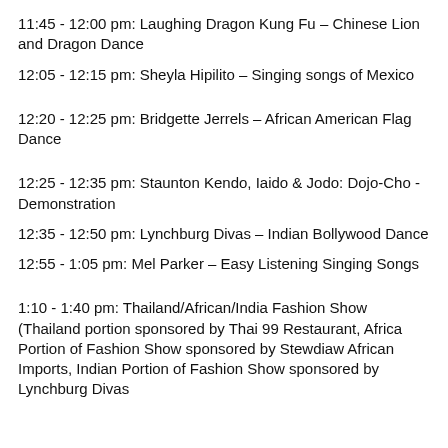11:45 - 12:00 pm: Laughing Dragon Kung Fu – Chinese Lion and Dragon Dance
12:05 - 12:15 pm: Sheyla Hipilito – Singing songs of Mexico
12:20 - 12:25 pm: Bridgette Jerrels – African American Flag Dance
12:25 - 12:35 pm: Staunton Kendo, Iaido & Jodo: Dojo-Cho - Demonstration
12:35 - 12:50 pm: Lynchburg Divas – Indian Bollywood Dance
12:55 - 1:05 pm: Mel Parker – Easy Listening Singing Songs
1:10 - 1:40 pm: Thailand/African/India Fashion Show (Thailand portion sponsored by Thai 99 Restaurant, Africa Portion of Fashion Show sponsored by Stewdiaw African Imports, Indian Portion of Fashion Show sponsored by Lynchburg Divas